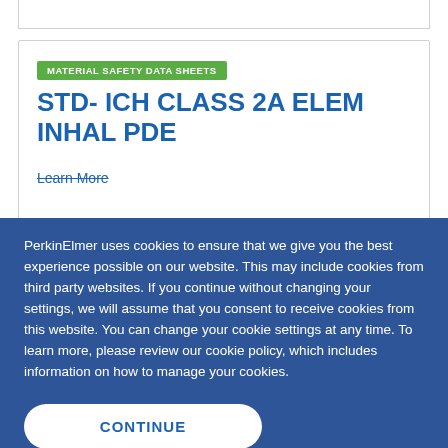MATERIAL SAFETY DATA SHEETS
STD- ICH CLASS 2A ELEM INHAL PDE
Learn More
PerkinElmer uses cookies to ensure that we give you the best experience possible on our website. This may include cookies from third party websites. If you continue without changing your settings, we will assume that you consent to receive cookies from this website. You can change your cookie settings at any time. To learn more, please review our cookie policy, which includes information on how to manage your cookies.
CONTINUE